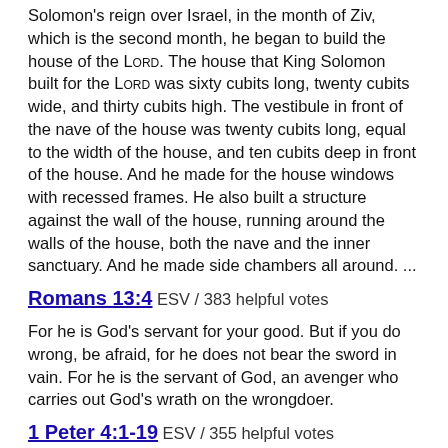Solomon's reign over Israel, in the month of Ziv, which is the second month, he began to build the house of the Lord. The house that King Solomon built for the Lord was sixty cubits long, twenty cubits wide, and thirty cubits high. The vestibule in front of the nave of the house was twenty cubits long, equal to the width of the house, and ten cubits deep in front of the house. And he made for the house windows with recessed frames. He also built a structure against the wall of the house, running around the walls of the house, both the nave and the inner sanctuary. And he made side chambers all around. ...
Romans 13:4 ESV / 383 helpful votes
For he is God's servant for your good. But if you do wrong, be afraid, for he does not bear the sword in vain. For he is the servant of God, an avenger who carries out God's wrath on the wrongdoer.
1 Peter 4:1-19 ESV / 355 helpful votes
Since therefore Christ suffered in the flesh, arm yourselves with the same way of thinking, for whoever